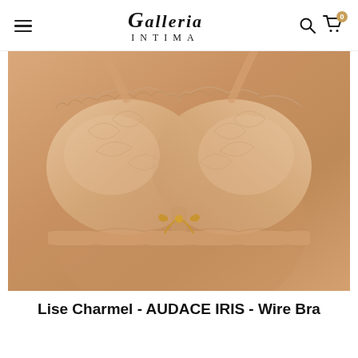GALLERIA INTIMA
[Figure (photo): Product photo of a nude/beige lace wire bra (Lise Charmel AUDACE IRIS) worn on a model, showing floral lace detailing and a gold bow at the center front.]
Lise Charmel - AUDACE IRIS - Wire Bra